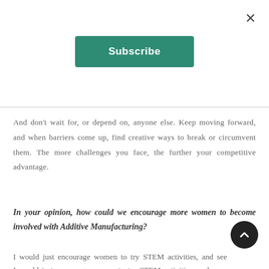[Figure (other): Close button (×) in top right corner]
[Figure (other): Green Subscribe button centered near top]
And don't wait for, or depend on, anyone else. Keep moving forward, and when barriers come up, find creative ways to break or circumvent them. The more challenges you face, the further your competitive advantage.
In your opinion, how could we encourage more women to become involved with Additive Manufacturing?
I would just encourage women to try STEM activities, and see where they feel their natural intere... There are so many exciting new fields to explore...
[Figure (other): Dark circular scroll-up arrow button in bottom right]